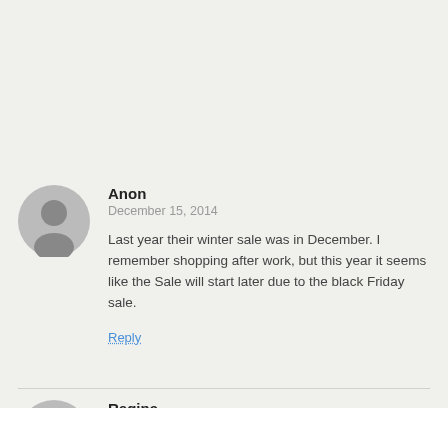Anon
December 15, 2014
Last year their winter sale was in December. I remember shopping after work, but this year it seems like the Sale will start later due to the black Friday sale.
Reply
Regina